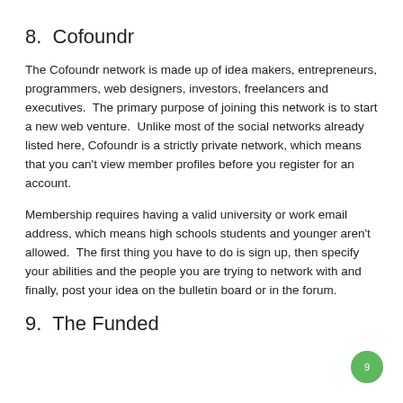8.  Cofoundr
The Cofoundr network is made up of idea makers, entrepreneurs, programmers, web designers, investors, freelancers and executives.  The primary purpose of joining this network is to start a new web venture.  Unlike most of the social networks already listed here, Cofoundr is a strictly private network, which means that you can't view member profiles before you register for an account.
Membership requires having a valid university or work email address, which means high schools students and younger aren't allowed.  The first thing you have to do is sign up, then specify your abilities and the people you are trying to network with and finally, post your idea on the bulletin board or in the forum.
9.  The Funded